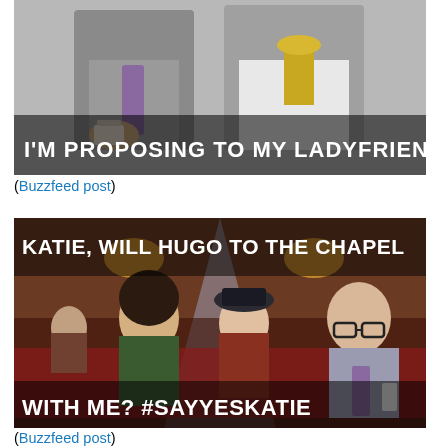[Figure (photo): Meme image of a man holding a ring box at what appears to be an awards ceremony, with text overlay: 'I'M PROPOSING TO MY LADYFRIEND.']
(Buzzfeed post)
[Figure (photo): Meme image of people sitting in a movie theater/auditorium, with text overlays: 'KATIE, WILL HUGO TO THE CHAPEL' and 'WITH ME? #SAYYESKATIE']
(Buzzfeed post)